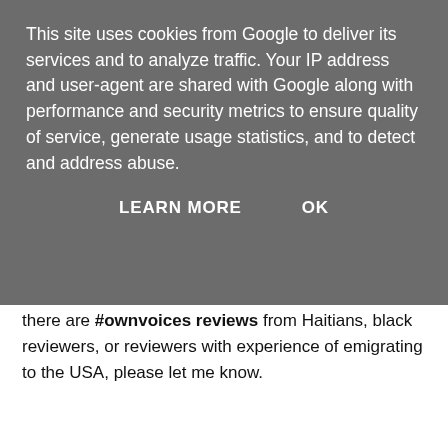This site uses cookies from Google to deliver its services and to analyze traffic. Your IP address and user-agent are shared with Google along with performance and security metrics to ensure quality of service, generate usage statistics, and to detect and address abuse.
LEARN MORE   OK
there are any #ownvoices reviews from Haitians, black reviewers, or reviewers with experience of emigrating to the USA, please let me know.
I'd love to link to your reviews!
[Figure (other): Collapse/expand chevron button (down arrow)]
[Figure (other): Advertisement banner for Bibi and Tina English YouTube channel. Shows logo, text 'The Official Bibi & Tina YouTube Channel. A new adventure will be uploaded every thursday! Bibi and Tina', and a Subscribe button.]